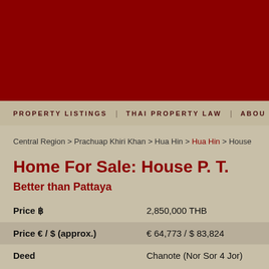[Figure (photo): Dark red/maroon banner image at top of page]
PROPERTY LISTINGS   THAI PROPERTY LAW   ABOU
Central Region > Prachuap Khiri Khan > Hua Hin > Hua Hin > House
Home For Sale: House P. T.
Better than Pattaya
| Field | Value |
| --- | --- |
| Price ฿ | 2,850,000 THB |
| Price € / $ (approx.) | € 64,773 / $ 83,824 |
| Deed | Chanote (Nor Sor 4 Jor) |
The Home: